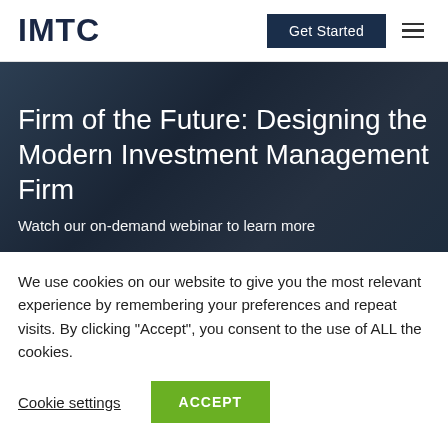IMTC
Firm of the Future: Designing the Modern Investment Management Firm
Watch our on-demand webinar to learn more
We use cookies on our website to give you the most relevant experience by remembering your preferences and repeat visits. By clicking "Accept", you consent to the use of ALL the cookies.
Cookie settings    ACCEPT